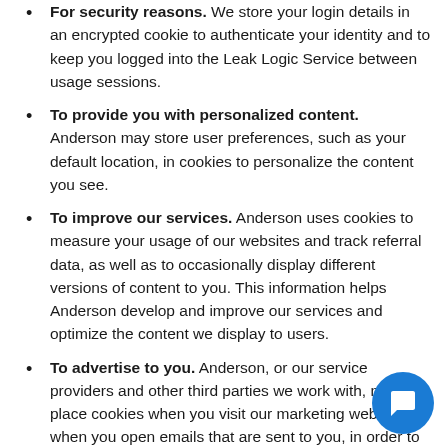For security reasons. We store your login details in an encrypted cookie to authenticate your identity and to keep you logged into the Leak Logic Service between usage sessions.
To provide you with personalized content. Anderson may store user preferences, such as your default location, in cookies to personalize the content you see.
To improve our services. Anderson uses cookies to measure your usage of our websites and track referral data, as well as to occasionally display different versions of content to you. This information helps Anderson develop and improve our services and optimize the content we display to users.
To advertise to you. Anderson, or our service providers and other third parties we work with, may place cookies when you visit our marketing website or when you open emails that are sent to you, in order to provide you with more tailored marketing content (about our services or other services), to evaluate whether this content is useful or